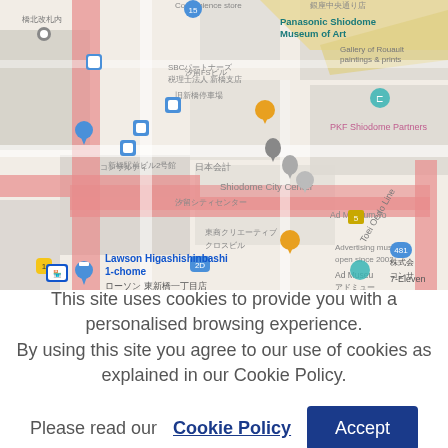[Figure (map): Google Maps screenshot showing the Shiodome/Higashishinbashi area in Tokyo, Japan. Visible landmarks include Panasonic Shiodome Museum of Art, PKF Shiodome Partners, Shiodome City Center, Ad Museum Tokyo, Lawson Higashishinbashi 1-chome, 7-Eleven, and various Japanese text labels. The map shows roads highlighted in pink/red, location pins, and transit markers.]
This site uses cookies to provide you with a personalised browsing experience. By using this site you agree to our use of cookies as explained in our Cookie Policy.
Please read our Cookie Policy Accept